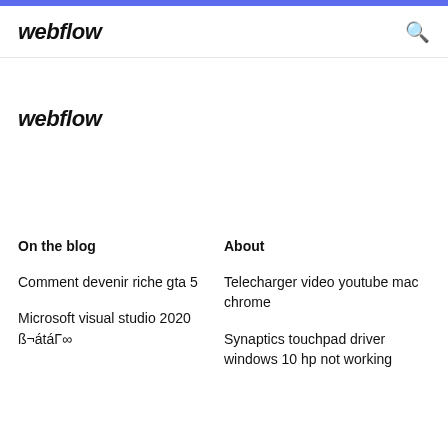webflow
webflow
On the blog
About
Comment devenir riche gta 5
Telecharger video youtube mac chrome
Microsoft visual studio 2020 ß¬átáΓ∞
Synaptics touchpad driver windows 10 hp not working